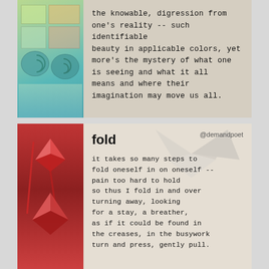[Figure (illustration): Top card: left side shows colorful artwork with painted panels, spirals, trees in pastel greens, teals, and blues. Right side has text on a watercolor background.]
the knowable, digression from one's reality -- such identifiable beauty in applicable colors, yet more's the mystery of what one is seeing and what it all means and where their imagination may move us all.
[Figure (photo): Bottom card: left side shows red origami or decorative red paper cranes/plants on a warm red background. Right side has light grey/beige background with a faint origami bird and poem text.]
@demandpoet
fold
it takes so many steps to fold oneself in on oneself -- pain too hard to hold so thus I fold in and over turning away, looking for a stay, a breather, as if it could be found in the creases, in the busywork turn and press, gently pull.